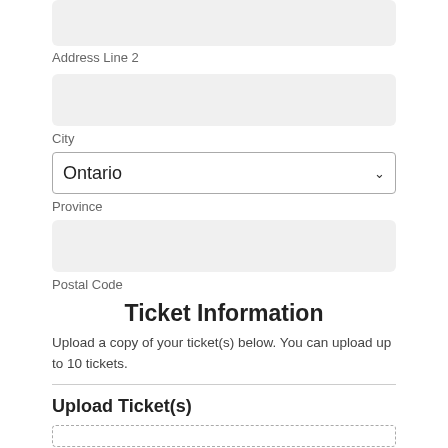[Figure (screenshot): Address Line 2 input field (grey rounded rectangle, empty)]
Address Line 2
[Figure (screenshot): City input field (grey rounded rectangle, empty)]
City
[Figure (screenshot): Province dropdown selector showing 'Ontario' with chevron arrow]
Province
[Figure (screenshot): Postal Code input field (grey rounded rectangle, empty)]
Postal Code
Ticket Information
Upload a copy of your ticket(s) below. You can upload up to 10 tickets.
Upload Ticket(s)
[Figure (screenshot): Upload area with dashed border]